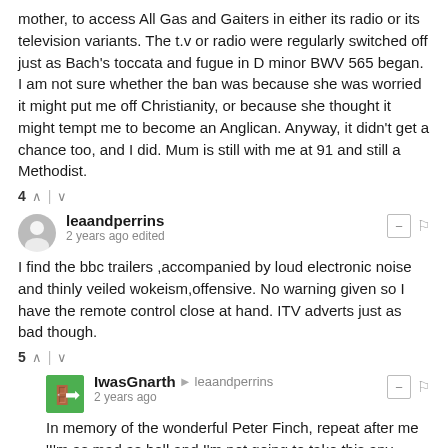mother, to access All Gas and Gaiters in either its radio or its television variants. The t.v or radio were regularly switched off just as Bach's toccata and fugue in D minor BWV 565 began. I am not sure whether the ban was because she was worried it might put me off Christianity, or because she thought it might tempt me to become an Anglican. Anyway, it didn't get a chance too, and I did. Mum is still with me at 91 and still a Methodist.
4 ^ | v
leaandperrins
2 years ago edited
I find the bbc trailers ,accompanied by loud electronic noise and thinly veiled wokeism,offensive. No warning given so I have the remote control close at hand. ITV adverts just as bad though.
5 ^ | v
IwasGnarth → leaandperrins
2 years ago
In memory of the wonderful Peter Finch, repeat after me 'I'm as mad as hell and I'm not going to take this any more!' Then cancel the licence. It feels tremendous, honestly.